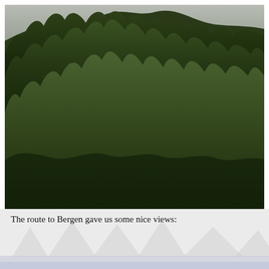[Figure (photo): Landscape photograph of a densely forested hillside/mountain. The scene shows multiple layers of green deciduous and coniferous trees covering a steep hill, with an overcast grey sky visible at the top. One tree in the mid-ground has a yellowish-green color contrasting with the dark green surroundings.]
The route to Bergen gave us some nice views: